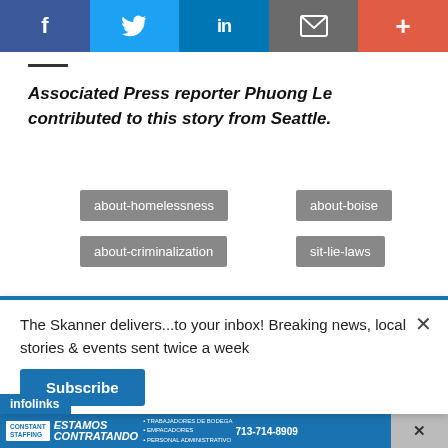[Figure (other): Social media sharing bar with Facebook, Twitter, LinkedIn, Email, and plus buttons]
Associated Press reporter Phuong Le contributed to this story from Seattle.
about-homelessness
about-boise
about-criminalization
sit-lie-laws
The Skanner delivers...to your inbox! Breaking news, local stories & events sent twice a week
[Figure (other): Dickies Advanced Body Temp Tech advertisement banner]
[Figure (other): Constant Staffing Estamos Contratando advertisement banner with phone number 713-714-8909]